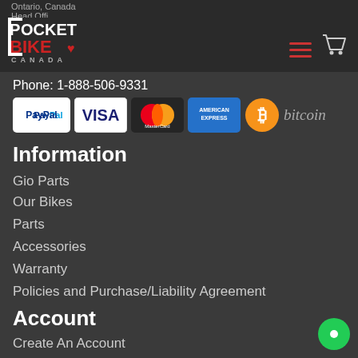Ontario, Canada · K6V5T3
[Figure (logo): Pocket Bike Canada logo with white and red text]
Phone: 1-888-506-9331
[Figure (infographic): Payment method icons: PayPal, Visa, MasterCard, American Express, Bitcoin]
Information
Gio Parts
Our Bikes
Parts
Accessories
Warranty
Policies and Purchase/Liability Agreement
Account
Create An Account
Order Information
Submit Warranty Claim